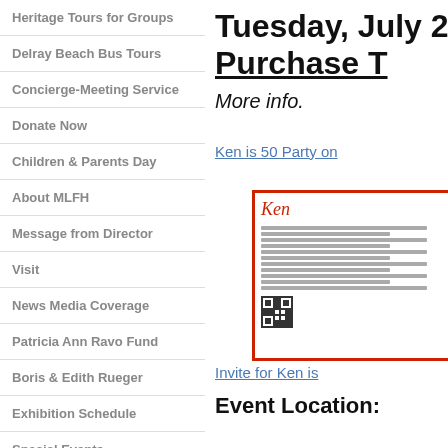Heritage Tours for Groups
Delray Beach Bus Tours
Concierge-Meeting Service
Donate Now
Children & Parents Day
About MLFH
Message from Director
Visit
News Media Coverage
Patricia Ann Ravo Fund
Boris & Edith Rueger
Exhibition Schedule
Special Events
Tuesday, July 2 Purchase T
More info.
Ken is 50 Party on
[Figure (other): Red-bordered flyer for Ken is 50 event with text and QR code]
Invite for Ken is
Event Location: